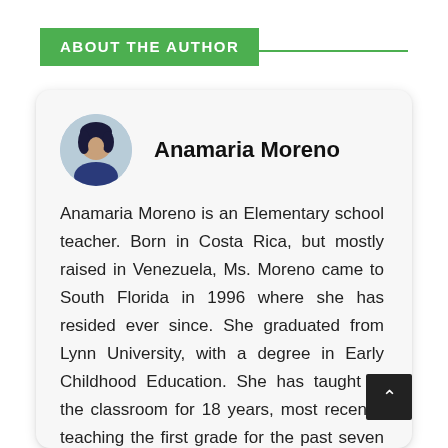ABOUT THE AUTHOR
[Figure (photo): Circular portrait photo of Anamaria Moreno, a woman with dark hair, against a light background]
Anamaria Moreno
Anamaria Moreno is an Elementary school teacher. Born in Costa Rica, but mostly raised in Venezuela, Ms. Moreno came to South Florida in 1996 where she has resided ever since. She graduated from Lynn University, with a degree in Early Childhood Education. She has taught in the classroom for 18 years, most recently teaching the first grade for the past seven years. Before becoming a teacher, Ms. Moreno